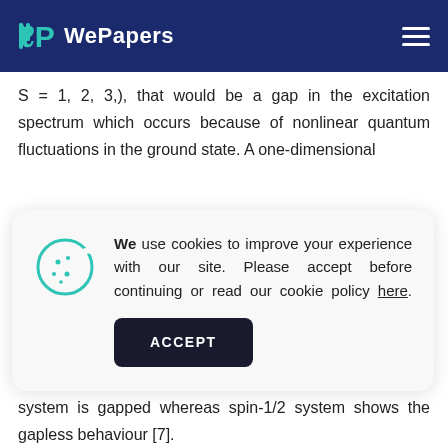WePapers
S = 1, 2, 3,), that would be a gap in the excitation spectrum which occurs because of nonlinear quantum fluctuations in the ground state. A one-dimensional
[Figure (other): Cookie consent dialog with cookie icon, text asking user to accept cookies to improve experience, a link 'here', and an ACCEPT button]
topological origin and has a dramatic effect on the nature of the excitations. So, He conjectured that the spin-1 system is gapped whereas spin-1/2 system shows the gapless behaviour [7].